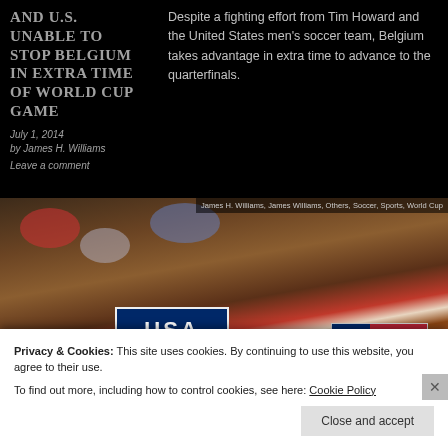AND U.S. UNABLE TO STOP BELGIUM IN EXTRA TIME OF WORLD CUP GAME
July 1, 2014
by James H. Williams
Leave a comment
Despite a fighting effort from Tim Howard and the United States men's soccer team, Belgium takes advantage in extra time to advance to the quarterfinals.
[Figure (photo): Large crowd of USA soccer fans holding a USA banner and an American flag, watching a World Cup game. Tags: James H. Williams, James Williams, Others, Soccer, Sports, World Cup]
Privacy & Cookies: This site uses cookies. By continuing to use this website, you agree to their use. To find out more, including how to control cookies, see here: Cookie Policy
Close and accept